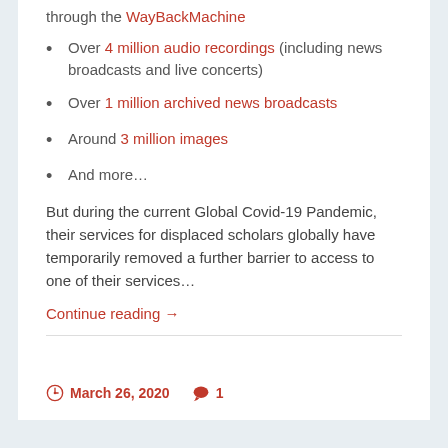through the WayBackMachine
Over 4 million audio recordings (including news broadcasts and live concerts)
Over 1 million archived news broadcasts
Around 3 million images
And more…
But during the current Global Covid-19 Pandemic, their services for displaced scholars globally have temporarily removed a further barrier to access to one of their services…
Continue reading →
March 26, 2020   1